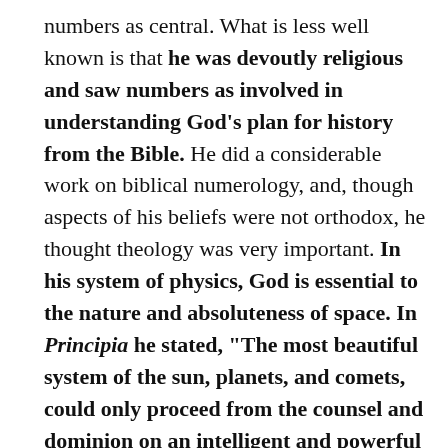numbers as central. What is less well known is that he was devoutly religious and saw numbers as involved in understanding God's plan for history from the Bible. He did a considerable work on biblical numerology, and, though aspects of his beliefs were not orthodox, he thought theology was very important. In his system of physics, God is essential to the nature and absoluteness of space. In Principia he stated, "The most beautiful system of the sun, planets, and comets, could only proceed from the counsel and dominion on an intelligent and powerful Being."
7. Robert Boyle (1791–1867)
One of the founders and key early members